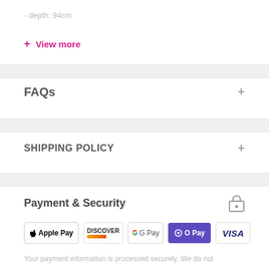- depth: 94cm
+ View more
FAQs +
SHIPPING POLICY +
Payment & Security
[Figure (infographic): Payment method logos: Apple Pay, Discover, Google Pay, O Pay, Visa]
Your payment information is processed securely. We do not